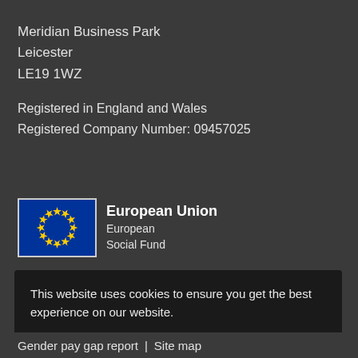Meridian Business Park
Leicester
LE19 1WZ
Registered in England and Wales
Registered Company Number: 09457025
[Figure (logo): European Union European Social Fund logo with EU flag (blue background with yellow stars circle) and text 'European Union / European Social Fund']
This website uses cookies to ensure you get the best experience on our website.
Continue
Gender pay gap report | Site map